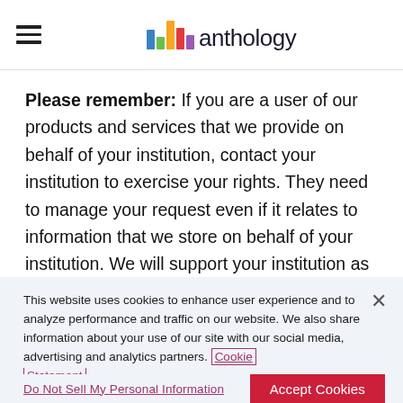[Figure (logo): Anthology logo with colorful bar chart icon and 'anthology' wordmark in dark text]
Please remember: If you are a user of our products and services that we provide on behalf of your institution, contact your institution to exercise your rights. They need to manage your request even if it relates to information that we store on behalf of your institution. We will support your institution as
This website uses cookies to enhance user experience and to analyze performance and traffic on our website. We also share information about your use of our site with our social media, advertising and analytics partners. Cookie Statement
Do Not Sell My Personal Information
Accept Cookies